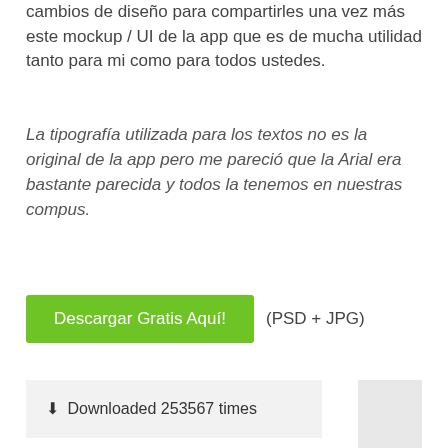cambios de diseño para compartirles una vez más este mockup / UI de la app que es de mucha utilidad tanto para mi como para todos ustedes.
La tipografía utilizada para los textos no es la original de la app pero me pareció que la Arial era bastante parecida y todos la tenemos en nuestras compus.
Descargar Gratis Aquí! (PSD + JPG)
Downloaded 253567 times